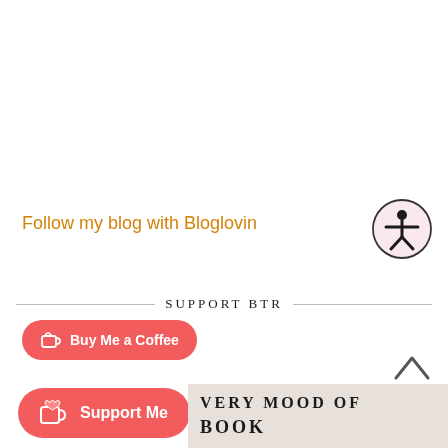Follow my blog with Bloglovin
[Figure (illustration): Accessibility icon — person in circle, pink background]
SUPPORT BTR
[Figure (illustration): Buy Me a Coffee button — coral red rounded pill with coffee cup icon and white text 'Buy Me a Coffee']
[Figure (illustration): Support Me button — coral red rounded pill with heart-in-cup icon and white text 'Support Me']
[Figure (illustration): Up caret / chevron arrow pointing up]
VERY MOOD OF BOOK